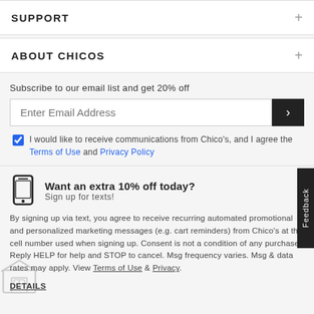SUPPORT
ABOUT CHICOS
Subscribe to our email list and get 20% off
I would like to receive communications from Chico's, and I agree the Terms of Use and Privacy Policy
Want an extra 10% off today?
Sign up for texts!
By signing up via text, you agree to receive recurring automated promotional and personalized marketing messages (e.g. cart reminders) from Chico's at the cell number used when signing up. Consent is not a condition of any purchase. Reply HELP for help and STOP to cancel. Msg frequency varies. Msg & data rates may apply. View Terms of Use & Privacy.
DETAILS